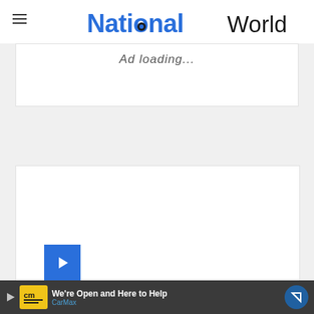National World
[Figure (screenshot): Ad loading placeholder box with text 'Ad loading...']
[Figure (screenshot): Empty white advertisement box with blue brand icon in lower left]
[Figure (screenshot): Bottom advertisement banner: CarMax 'We're Open and Here to Help' with CM logo and navigation arrow icon]